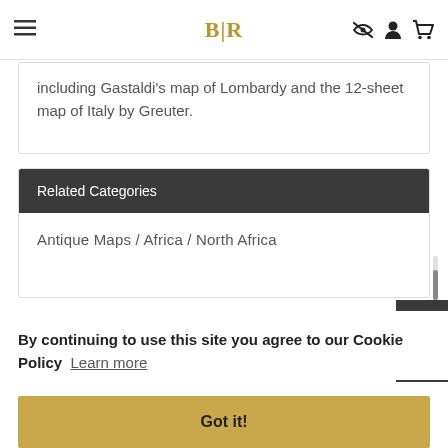BLR
including Gastaldi's map of Lombardy and the 12-sheet map of Italy by Greuter.
Related Categories
Antique Maps / Africa / North Africa
By continuing to use this site you agree to our Cookie Policy  Learn more
Got it!